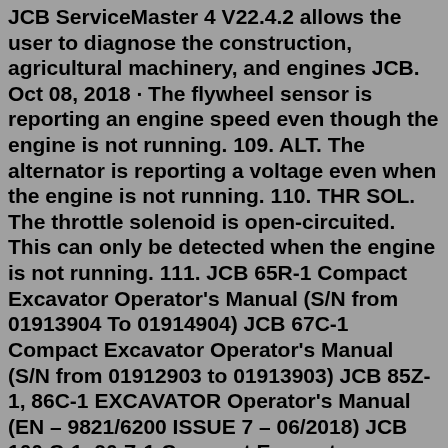JCB ServiceMaster 4 V22.4.2 allows the user to diagnose the construction, agricultural machinery, and engines JCB. Oct 08, 2018 · The flywheel sensor is reporting an engine speed even though the engine is not running. 109. ALT. The alternator is reporting a voltage even when the engine is not running. 110. THR SOL. The throttle solenoid is open-circuited. This can only be detected when the engine is not running. 111. JCB 65R-1 Compact Excavator Operator's Manual (S/N from 01913904 To 01914904) JCB 67C-1 Compact Excavator Operator's Manual (S/N from 01912903 to 01913903) JCB 85Z-1, 86C-1 EXCAVATOR Operator's Manual (EN – 9821/6200 ISSUE 7 – 06/2018) JCB 100 C-1, 90 Z-1 Compact Excavator Operator Manual. P0098 is a diagnostic trouble code (DTC) for "Intake Air Temperature Sensor 2 Circuit High". This can happen for multiple reasons and a mechanic needs to diagnose the specific cause for this code to be triggered in your situation. Our certified mobile mechanics can come to your home or office to perform the Check Engine Light